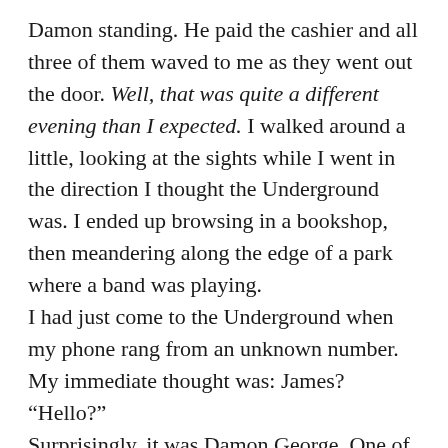Damon standing. He paid the cashier and all three of them waved to me as they went out the door. Well, that was quite a different evening than I expected. I walked around a little, looking at the sights while I went in the direction I thought the Underground was. I ended up browsing in a bookshop, then meandering along the edge of a park where a band was playing.
I had just come to the Underground when my phone rang from an unknown number.
My immediate thought was: James?
“Hello?”
Surprisingly, it was Damon George. One of the girls must have given him my number. “Where are you, Karina? Do you need a ride?”
“I can find my own way home, thanks,” I said. “Are you done with Nadia and Juney already?”